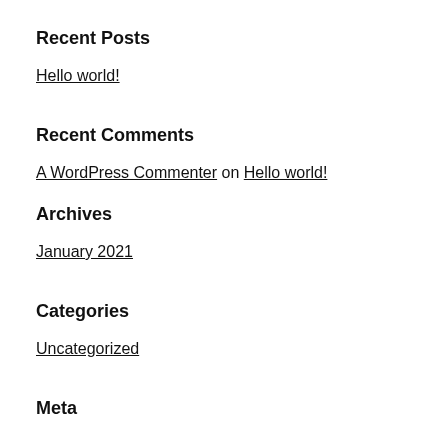Recent Posts
Hello world!
Recent Comments
A WordPress Commenter on Hello world!
Archives
January 2021
Categories
Uncategorized
Meta